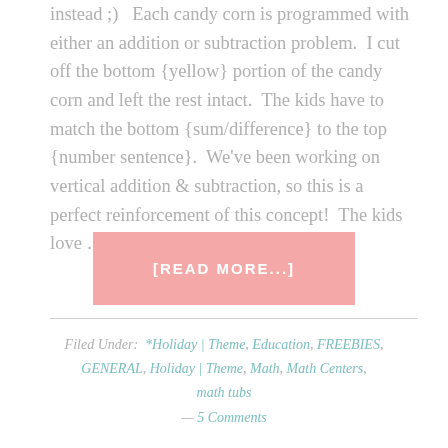instead ;)  Each candy corn is programmed with either an addition or subtraction problem.  I cut off the bottom {yellow} portion of the candy corn and left the rest intact.  The kids have to match the bottom {sum/difference} to the top {number sentence}.  We've been working on vertical addition & subtraction, so this is a perfect reinforcement of this concept!  The kids love …
[READ MORE...]
Filed Under: *Holiday | Theme, Education, FREEBIES, GENERAL, Holiday | Theme, Math, Math Centers, math tubs
— 5 Comments